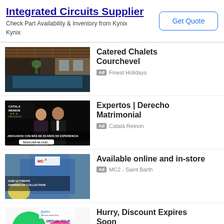Integrated Circuits Supplier
Check Part Availability & Inventory from Kynix
Kynix
Get Quote
[Figure (photo): Interior of a luxury chalet with pool]
Catered Chalets Courchevel
Ad Finest Holidays
[Figure (photo): Català Reinon law firm advertisement with two people in formal wear, text: ABOGADOS CON MÁS DE 30 AÑOS DE EXPERIENCIA, RESOLVER MI CASO]
Expertos | Derecho Matrimonial
Ad Català Reinon
[Figure (photo): MC2 Saint Barth swimwear advertisement - OUR ULTIMATE SWIMWEAR COLLECTION]
Available online and in-store
Ad MC2 - Saint Barth
[Figure (photo): Partial virtual tour advertisement with colorful graphics]
Hurry, Discount Expires Soon